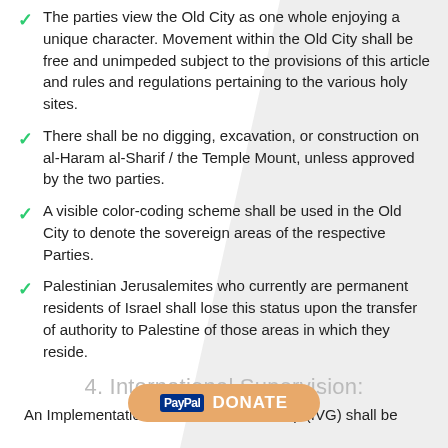The parties view the Old City as one whole enjoying a unique character. Movement within the Old City shall be free and unimpeded subject to the provisions of this article and rules and regulations pertaining to the various holy sites.
There shall be no digging, excavation, or construction on al-Haram al-Sharif / the Temple Mount, unless approved by the two parties.
A visible color-coding scheme shall be used in the Old City to denote the sovereign areas of the respective Parties.
Palestinian Jerusalemites who currently are permanent residents of Israel shall lose this status upon the transfer of authority to Palestine of those areas in which they reside.
4. International Supervision:
An Implementation and Verification Group (IVG) shall be